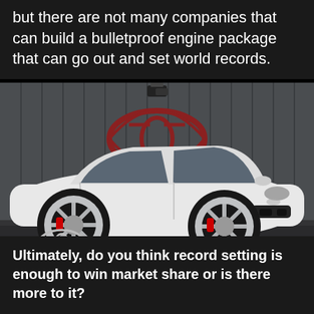but there are not many companies that can build a bulletproof engine package that can go out and set world records.
[Figure (photo): White Porsche Panamera with custom chrome wheels parked in front of a grey industrial building with a red logo on the wall. A CVD logo and website URL appear in the lower left of the image.]
Ultimately, do you think record setting is enough to win market share or is there more to it?